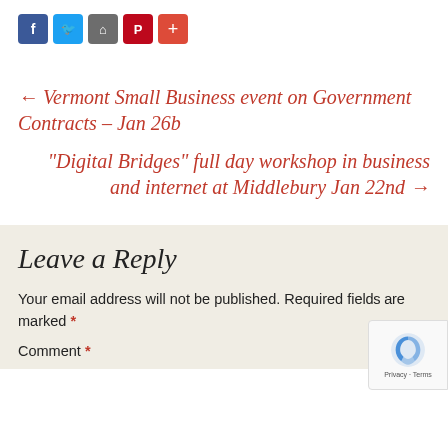[Figure (other): Social share buttons: Facebook (blue), Twitter (light blue), Home/Share (gray), Pinterest (red), Plus/More (orange-red)]
← Vermont Small Business event on Government Contracts – Jan 26b
“Digital Bridges” full day workshop in business and internet at Middlebury Jan 22nd →
Leave a Reply
Your email address will not be published. Required fields are marked *
Comment *